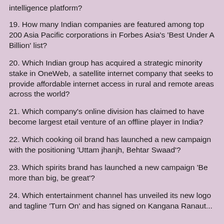...Which company has unveiled Ignio, its artificial intelligence platform?
19. How many Indian companies are featured among top 200 Asia Pacific corporations in Forbes Asia's 'Best Under A Billion' list?
20. Which Indian group has acquired a strategic minority stake in OneWeb, a satellite internet company that seeks to provide affordable internet access in rural and remote areas across the world?
21. Which company's online division has claimed to have become largest etail venture of an offline player in India?
22. Which cooking oil brand has launched a new campaign with the positioning 'Uttam jhanjh, Behtar Swaad'?
23. Which spirits brand has launched a new campaign 'Be more than big, be great'?
24. Which entertainment channel has unveiled its new logo and tagline 'Turn On' and has signed on Kangana Ranaut...